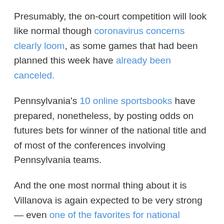Presumably, the on-court competition will look like normal though coronavirus concerns clearly loom, as some games that had been planned this week have already been canceled.
Pennsylvania's 10 online sportsbooks have prepared, nonetheless, by posting odds on futures bets for winner of the national title and of most of the conferences involving Pennsylvania teams.
And the one most normal thing about it is Villanova is again expected to be very strong — even one of the favorites for national champion in what hopefully will be a return of March Madness.
From the rest of the state's college programs, very little is